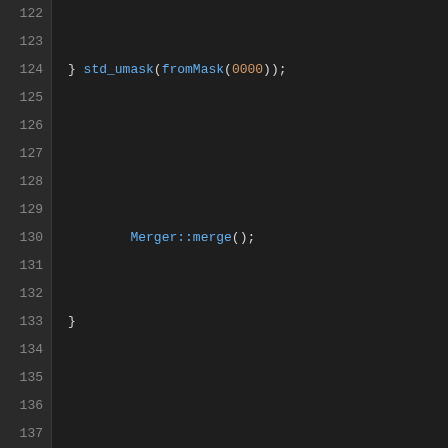[Figure (screenshot): Source code editor screenshot showing C++ code for FSMerger class methods, lines 122-149, with dark theme syntax highlighting. Shows prepare_install_under() and on_file_over_nothing() method implementations with keywords in purple, strings in green, numbers in orange, and identifiers in white/cyan.]